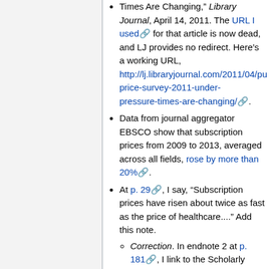Times Are Changing," Library Journal, April 14, 2011. The URL I used for that article is now dead, and LJ provides no redirect. Here's a working URL, http://lj.libraryjournal.com/2011/04/publishing/price-survey-2011-under-pressure-times-are-changing/.
Data from journal aggregator EBSCO show that subscription prices from 2009 to 2013, averaged across all fields, rose by more than 20%.
At p. 29, I say, "Subscription prices have risen about twice as fast as the price of healthcare...." Add this note.
Correction. In endnote 2 at p. 181, I link to the Scholarly Communication FAQ from the University of California's Office of